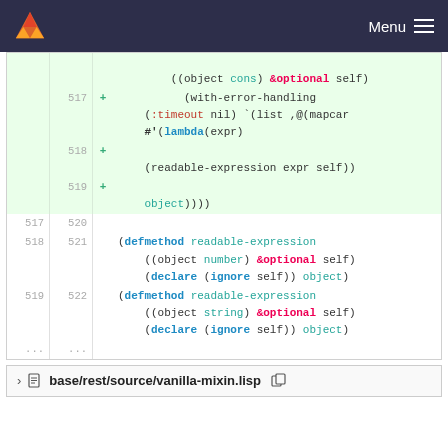[Figure (screenshot): GitLab navigation bar with logo and Menu hamburger icon on dark navy background]
Code diff view showing lines 517-522 of a Lisp source file with added lines (green background) containing with-error-handling, :timeout nil, list, mapcar, lambda, readable-expression and defmethod definitions
base/rest/source/vanilla-mixin.lisp file section header